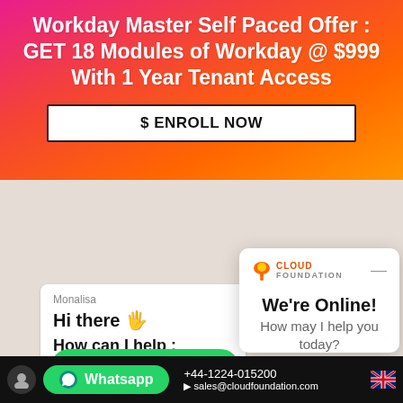Workday Master Self Paced Offer : GET 18 Modules of Workday @ $999 With 1 Year Tenant Access
$ ENROLL NOW
Typically replies instantly
Monalisa
Hi there 👋
How can I help ?
[Figure (screenshot): Cloud Foundation chat widget showing 'We're Online! How may I help you today?' with Chat now button]
We're Online!
How may I help you today?
Chat now
+44-1224-015200   sales@cloudfoundation.com